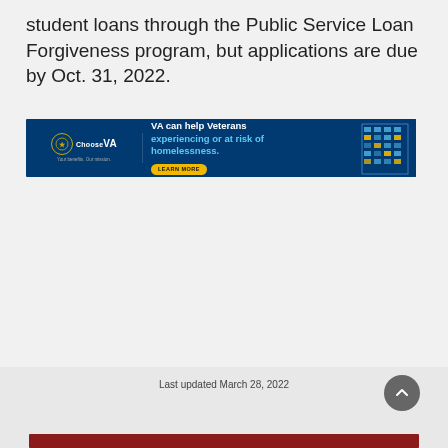student loans through the Public Service Loan Forgiveness program, but applications are due by Oct. 31, 2022.
[Figure (infographic): ChooseVA advertisement banner: 'VA can help Veterans experiencing or at risk of homelessness. LEARN MORE' with building image on right.]
Last updated March 28, 2022